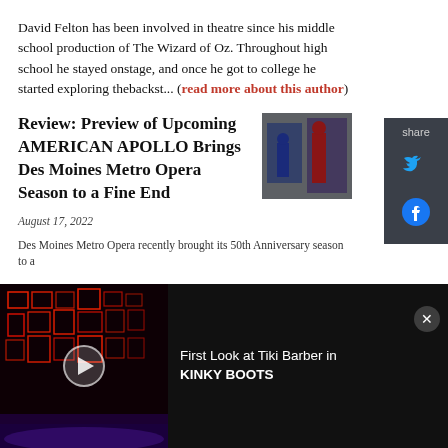David Felton has been involved in theatre since his middle school production of The Wizard of Oz. Throughout high school he stayed onstage, and once he got to college he started exploring thebackst... (read more about this author)
Review: Preview of Upcoming AMERICAN APOLLO Brings Des Moines Metro Opera Season to a Fine End
[Figure (photo): Production photo from American Apollo opera showing performers on stage]
August 17, 2022
Des Moines Metro Opera recently brought its 50th Anniversary season to a
[Figure (screenshot): Share panel with Twitter and Facebook icons on dark background]
[Figure (photo): Video thumbnail showing stage set with red neon box lighting for Kinky Boots, with play button overlay]
First Look at Tiki Barber in KINKY BOOTS